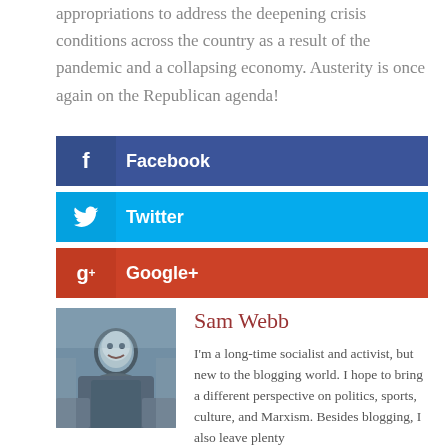appropriations to address the deepening crisis conditions across the country as a result of the pandemic and a collapsing economy. Austerity is once again on the Republican agenda!
[Figure (infographic): Three social sharing buttons: Facebook (dark blue), Twitter (cyan blue), Google+ (red-orange), each with icon on left and label text on right.]
[Figure (photo): Photo of Sam Webb, an older man outdoors.]
Sam Webb
I'm a long-time socialist and activist, but new to the blogging world. I hope to bring a different perspective on politics, sports, culture, and Marxism. Besides blogging, I also leave plenty